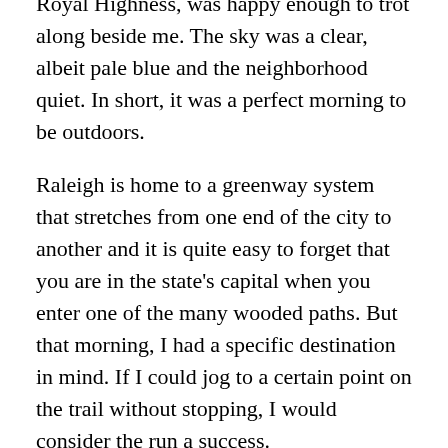Royal Highness, was happy enough to trot along beside me. The sky was a clear, albeit pale blue and the neighborhood quiet. In short, it was a perfect morning to be outdoors.
Raleigh is home to a greenway system that stretches from one end of the city to another and it is quite easy to forget that you are in the state's capital when you enter one of the many wooded paths. But that morning, I had a specific destination in mind. If I could jog to a certain point on the trail without stopping, I would consider the run a success.
A slight tension on the leash informed me that Her Royal Highness wouldn't mind picking up the pace. I ignored her request as I remained focused on my feet. She should understand. A trip or stumble due to a slippery patch of leaves or fallen branch would at a minimum ruin my stride,